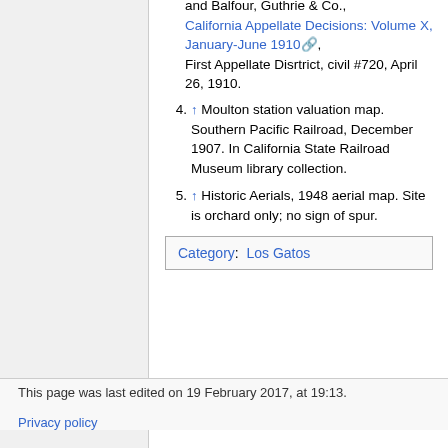Drying and Packing Company and Balfour, Guthrie & Co., California Appellate Decisions: Volume X, January-June 1910, First Appellate Disrtrict, civil #720, April 26, 1910.
4. ↑ Moulton station valuation map. Southern Pacific Railroad, December 1907. In California State Railroad Museum library collection.
5. ↑ Historic Aerials, 1948 aerial map. Site is orchard only; no sign of spur.
| Category: | Los Gatos |
This page was last edited on 19 February 2017, at 19:13.
Privacy policy